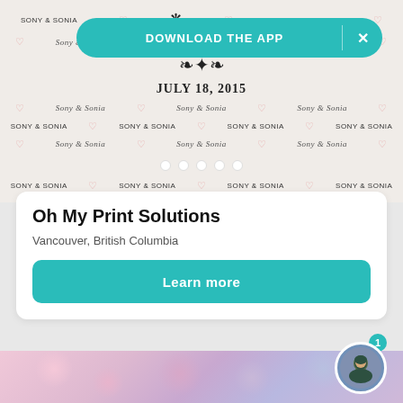[Figure (photo): Wedding backdrop banner with 'JULY 18, 2015', 'Sony & Sonia' repeated in script and block text with heart motifs, decorated with ornamental flourish at top center]
DOWNLOAD THE APP
Oh My Print Solutions
Vancouver, British Columbia
Learn more
[Figure (photo): Close-up photo of colorful flowers including pink, purple, and white roses and blooms]